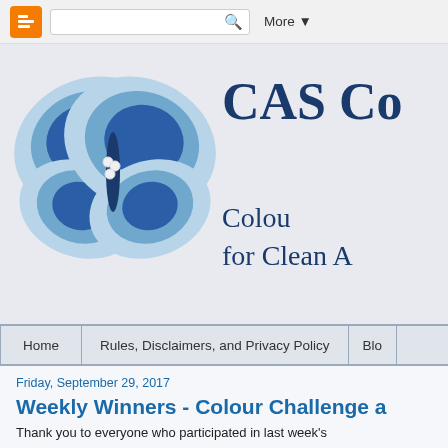Blogger navigation bar with search and More menu
[Figure (illustration): Blue layered paper butterfly illustration with pearl accents at center, on light gray background]
CAS Co
Colour for Clean A
[Figure (screenshot): Navigation bar with Home | Rules, Disclaimers, and Privacy Policy | Blo]
Friday, September 29, 2017
Weekly Winners - Colour Challenge a
Thank you to everyone who participated in last week's submitted in the challenge and were